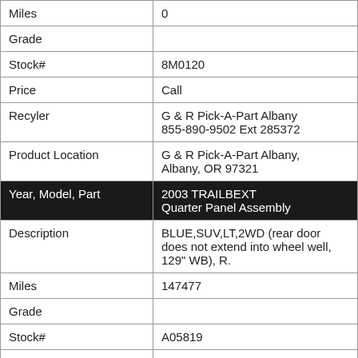| Miles | 0 |
| Grade |  |
| Stock# | 8M0120 |
| Price | Call |
| Recyler | G & R Pick-A-Part Albany
855-890-9502 Ext 285372 |
| Product Location | G & R Pick-A-Part Albany,
Albany, OR 97321 |
| Year, Model, Part | 2003 TRAILBEXT
Quarter Panel Assembly |
| Description | BLUE,SUV,LT,2WD (rear door does not extend into wheel well, 129" WB), R. |
| Miles | 147477 |
| Grade |  |
| Stock# | A05819 |
| Price | $150.00 |